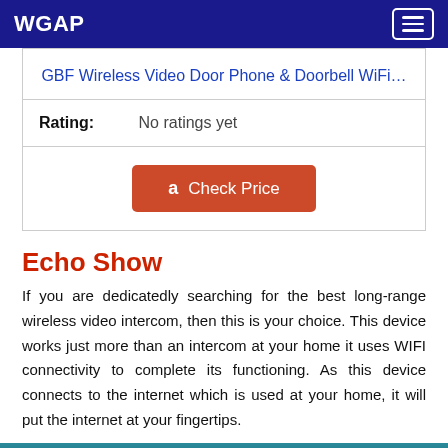WGAP
| GBF Wireless Video Door Phone & Doorbell WiFi… |
| Rating: | No ratings yet |
| [Check Price button] |
Echo Show
If you are dedicatedly searching for the best long-range wireless video intercom, then this is your choice. This device works just more than an intercom at your home it uses WIFI connectivity to complete its functioning. As this device connects to the internet which is used at your home, it will put the internet at your fingertips.
[Figure (photo): Partial image of the Echo Show device at bottom of page]